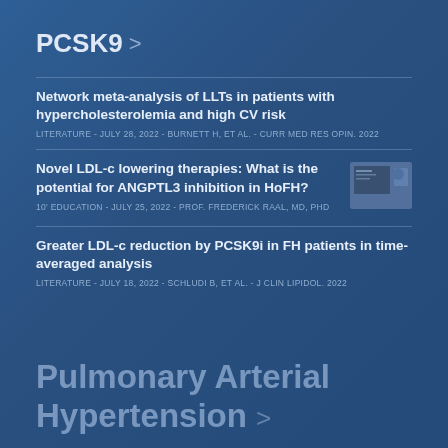PCSK9 >
Network meta-analysis of LLTs in patients with hypercholesterolemia and high CV risk
LITERATURE - JULY 28, 2022 - BURNETT H, ET AL. - CURR MED RES OPIN. 2022
Novel LDL-c lowering therapies: What is the potential for ANGPTL3 inhibition in HoFH?
10' EDUCATION - JULY 25, 2022 - PROF. FREDERICK RAAL, MD, PHD
Greater LDL-c reduction by PCSK9i in FH patients in time-averaged analysis
LITERATURE - JULY 18, 2022 - SCHLUDI B, ET AL. - J CLIN LIPIDOL. 2022
Pulmonary Arterial Hypertension >